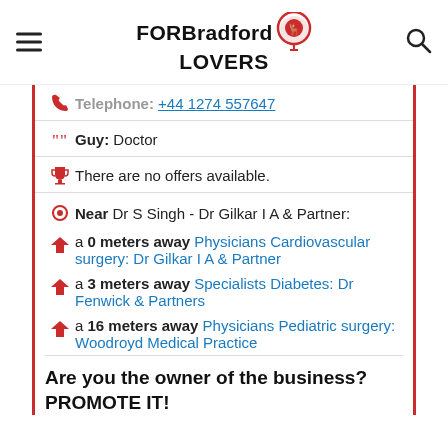FOR Bradford LOVERS
Telephone: +44 1274 557647
Guy: Doctor
There are no offers available.
Near Dr S Singh - Dr Gilkar I A & Partner:
a 0 meters away Physicians Cardiovascular surgery: Dr Gilkar I A & Partner
a 3 meters away Specialists Diabetes: Dr Fenwick & Partners
a 16 meters away Physicians Pediatric surgery: Woodroyd Medical Practice
Are you the owner of the business? PROMOTE IT!